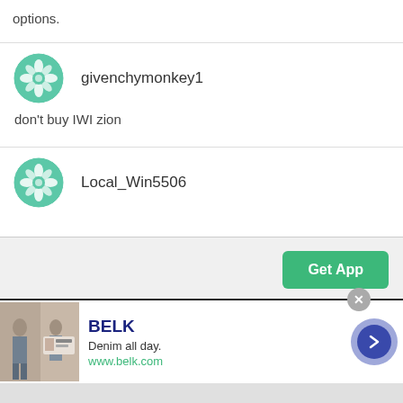options.
[Figure (logo): Teal decorative snowflake/mandala avatar icon for user givenchymonkey1]
givenchymonkey1
don't buy IWI zion
[Figure (logo): Teal decorative snowflake/mandala avatar icon for user Local_Win5506]
Local_Win5506
Get App
[Figure (screenshot): Advertisement for BELK showing denim clothing. Text: BELK, Denim all day., www.belk.com]